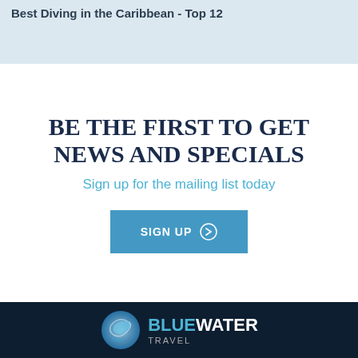Best Diving in the Caribbean - Top 12
BE THE FIRST TO GET NEWS AND SPECIALS
Sign up for the mailing list today
SIGN UP →
[Figure (logo): Bluewater Travel logo with blue wave graphic and text BLUEWATER TRAVEL on dark navy background]